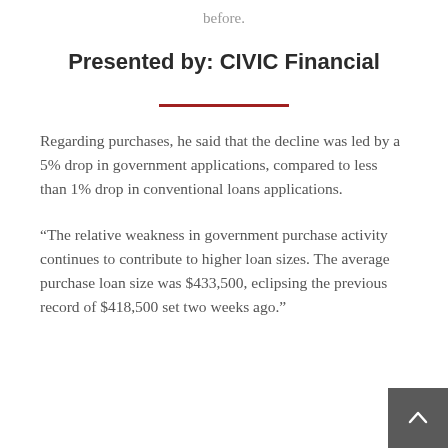before.
Presented by: CIVIC Financial
Regarding purchases, he said that the decline was led by a 5% drop in government applications, compared to less than 1% drop in conventional loans applications.
“The relative weakness in government purchase activity continues to contribute to higher loan sizes. The average purchase loan size was $433,500, eclipsing the previous record of $418,500 set two weeks ago.”